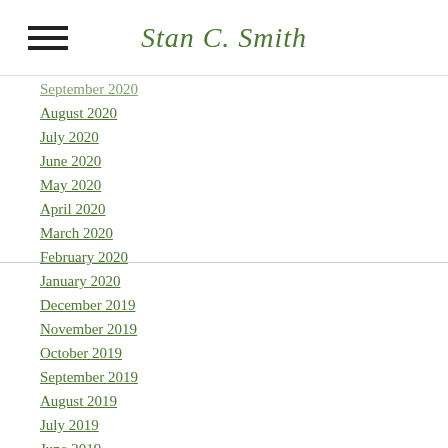Stan C. Smith
September 2020
August 2020
July 2020
June 2020
May 2020
April 2020
March 2020
February 2020
January 2020
December 2019
November 2019
October 2019
September 2019
August 2019
July 2019
June 2019
May 2019
April 2019
March 2019